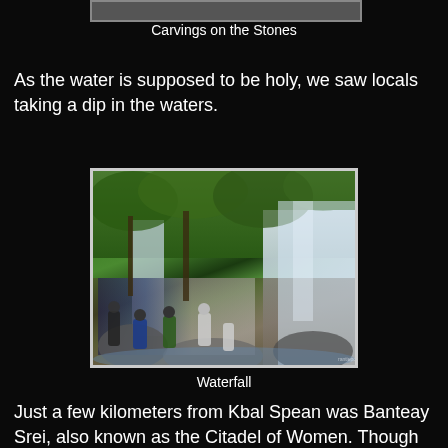Carvings on the Stones
As the water is supposed to be holy, we saw locals taking a dip in the waters.
[Figure (photo): Waterfall scene with people bathing in the water at the base of a waterfall surrounded by lush green forest and rocks.]
Waterfall
Just a few kilometers from Kbal Spean was Banteay Srei, also known as the Citadel of Women. Though the temple is quite small, it has its own charm that makes it a must visit